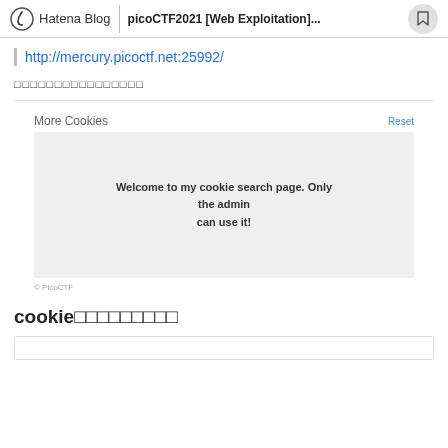Hatena Blog | picoCTF2021 [Web Exploitation]...
http://mercury.picoctf.net:25992/
□□□□□□□□□□□□□□□□
[Figure (screenshot): Screenshot of a web page titled 'More Cookies' with a Reset link. Shows a gray box with text: Welcome to my cookie search page. Only the admin can use it! Footer shows © PicoCTF]
cookie□□□□□□□□□